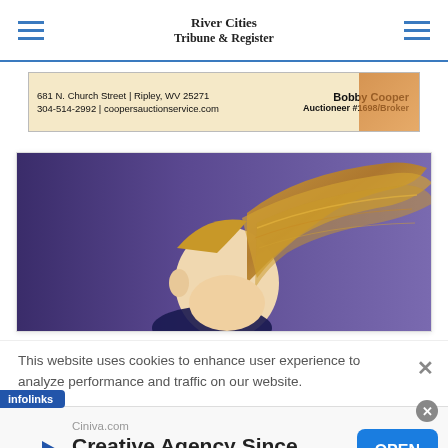River Cities Tribune & Register
[Figure (photo): Advertisement banner for Cooper's Auction Service: 681 N. Church Street | Ripley, WV 25271, 304-514-2992 | coopersauctionservice.com, Bobby Cooper Auctioneer #1698/Broker]
[Figure (photo): Sports action photo showing a person with long blonde hair flying, on a purple/dark blue background]
This website uses cookies to enhance user experience to analyze performance and traffic on our website.
infolinks
Ciniva.com
Creative Agency Since 1998
OPEN